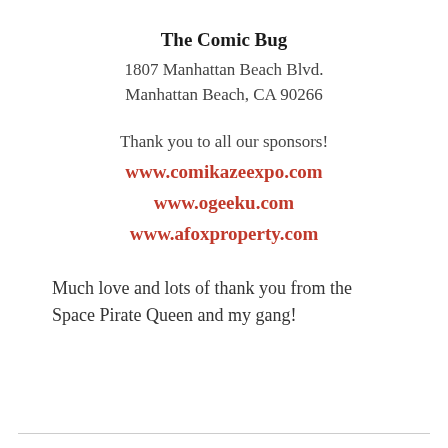The Comic Bug
1807 Manhattan Beach Blvd.
Manhattan Beach, CA 90266
Thank you to all our sponsors!
www.comikazeexpo.com
www.ogeeku.com
www.afoxproperty.com
Much love and lots of thank you from the Space Pirate Queen and my gang!